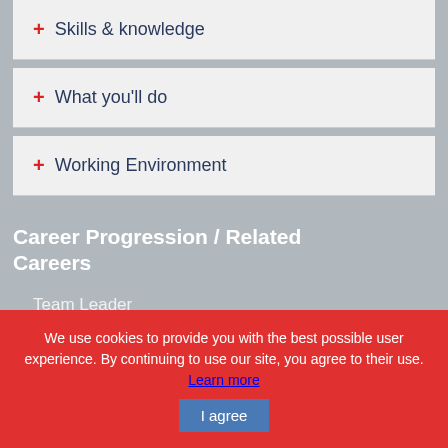+ Skills & knowledge
+ What you'll do
+ Working Environment
Career Progression / Related Careers
Team Leader
Customer Services Manager
Customers Advisor
We use cookies to provide you with the best possible user experience. By continuing to use our site, you agree to their use. Learn more
I agree